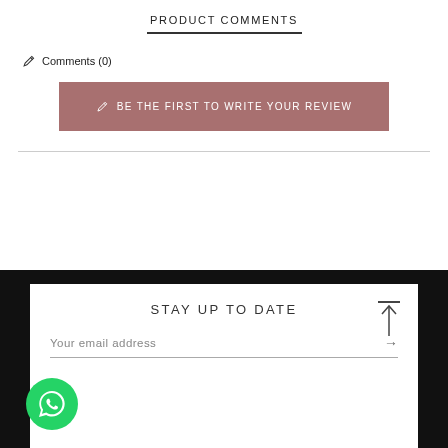PRODUCT COMMENTS
Comments (0)
BE THE FIRST TO WRITE YOUR REVIEW
STAY UP TO DATE
Your email address